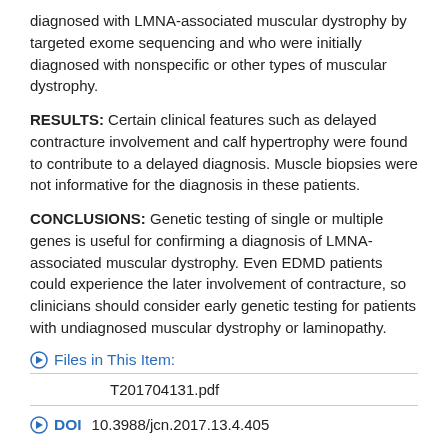diagnosed with LMNA-associated muscular dystrophy by targeted exome sequencing and who were initially diagnosed with nonspecific or other types of muscular dystrophy.
RESULTS: Certain clinical features such as delayed contracture involvement and calf hypertrophy were found to contribute to a delayed diagnosis. Muscle biopsies were not informative for the diagnosis in these patients.
CONCLUSIONS: Genetic testing of single or multiple genes is useful for confirming a diagnosis of LMNA-associated muscular dystrophy. Even EDMD patients could experience the later involvement of contracture, so clinicians should consider early genetic testing for patients with undiagnosed muscular dystrophy or laminopathy.
Files in This Item:
| T201704131.pdf |
DOI  10.3988/jcn.2017.13.4.405